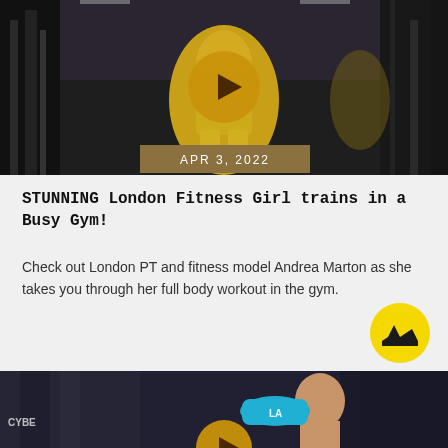[Figure (photo): Woman in yellow workout outfit at gym with a play button overlay and date badge reading APR 3, 2022]
STUNNING London Fitness Girl trains in a Busy Gym!
Check out London PT and fitness model Andrea Marton as she takes you through her full body workout in the gym.
[Figure (photo): Woman drinking from a blue water bottle at gym equipment, with play button overlay]